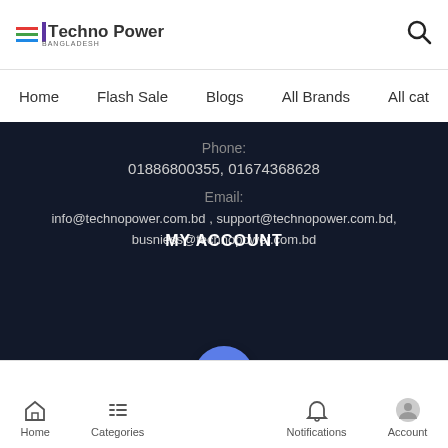[Figure (logo): Techno Power logo with colored horizontal lines and stylized text]
Home | Flash Sale | Blogs | All Brands | All cat
Phone:
01886800355, 01674368628
Email:
info@technopower.com.bd , support@technopower.com.bd,
busniess@technopower.com.bd
MY ACCOUNT
Home | Categories | Cart (0) | Notifications | Account